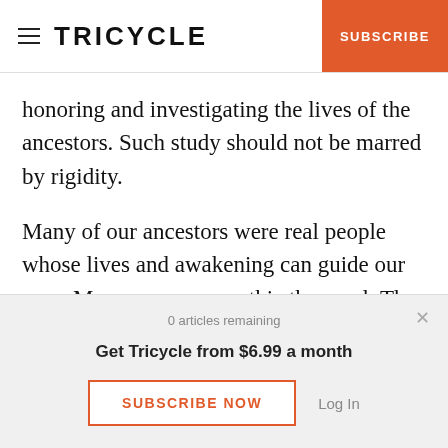TRICYCLE | SUBSCRIBE
honoring and investigating the lives of the ancestors. Such study should not be marred by rigidity.
Many of our ancestors were real people whose lives and awakening can guide our own. Many are more mythic than real. The Zen lineage is clearly documented only after the Sixth Patriarch of China, and even then there are gaps. For the most part, our
0 articles remaining
Get Tricycle from $6.99 a month
SUBSCRIBE NOW
Log In